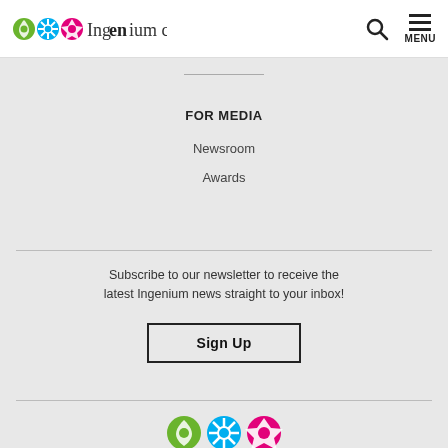Ingenium Channel — header with search and menu icons
FOR MEDIA
Newsroom
Awards
Subscribe to our newsletter to receive the latest Ingenium news straight to your inbox!
Sign Up
[Figure (logo): Ingenium logo with three circular icons (green leaf, blue snowflake/flower, pink/magenta geometric) and the word Ingenium in mixed weight serif/sans font]